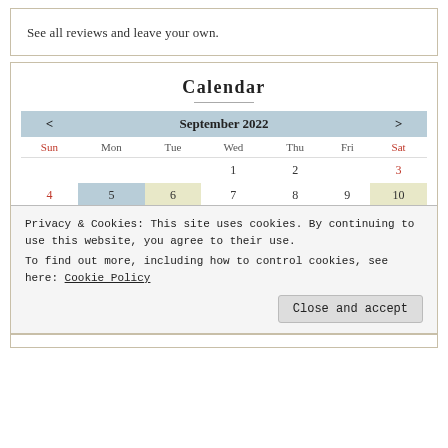See all reviews and leave your own.
Calendar
[Figure (other): Calendar widget showing September 2022 with navigation arrows, day-of-week headers (Sun through Sat), and dates 1–17 visible. Day 5 has blue highlight, days 6, 13 and 10 have yellow highlight. Sundays and Saturdays shown in red.]
Privacy & Cookies: This site uses cookies. By continuing to use this website, you agree to their use.
To find out more, including how to control cookies, see here: Cookie Policy
Close and accept